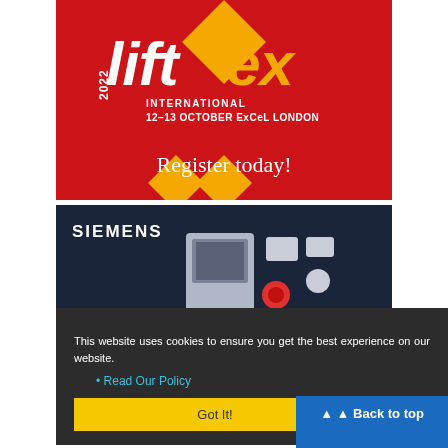[Figure (illustration): 2022 Liftex International event advertisement banner. Red background with yellow diamond shapes. Text reads '2022 liftex INTERNATIONAL 12-13 OCTOBER ExCeL LONDON Register today!']
[Figure (illustration): Siemens Cerberus PRO advertisement banner. Dark navy background with fire alarm control panel and devices. Text reads 'SIEMENS SMARTER PROTECTION MATTERS Cerberus PRO']
This website uses cookies to ensure you get the best experience on our website.
Read Our Policy
Got It!
Back to top